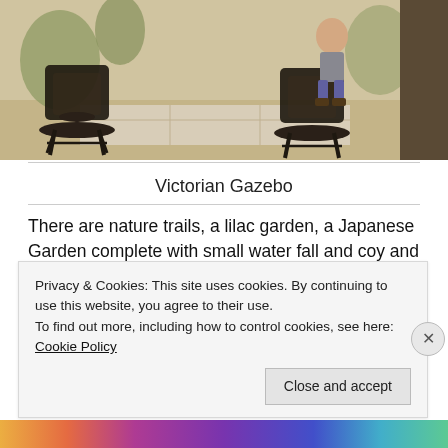[Figure (photo): Outdoor garden scene with ornate black metal chairs and a child sitting on one, with gravel ground and plants in background]
Victorian Gazebo
There are nature trails, a lilac garden, a Japanese Garden complete with small water fall and coy and our favorite, the Rose Garden with Weeping Willows and a Victorian Gazebo, perfect for ladies trying to
Privacy & Cookies: This site uses cookies. By continuing to use this website, you agree to their use.
To find out more, including how to control cookies, see here: Cookie Policy